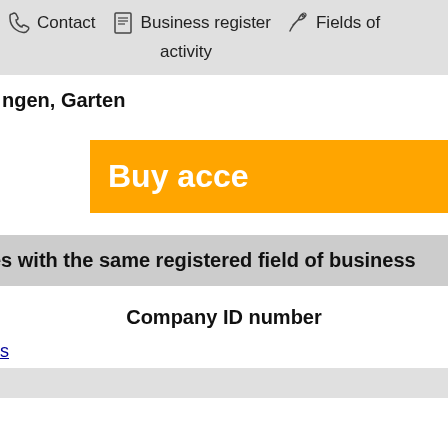Contact   Business register   Fields of activity
activity
ngen, Garten
Buy acce
es with the same registered field of business
Company ID number
s